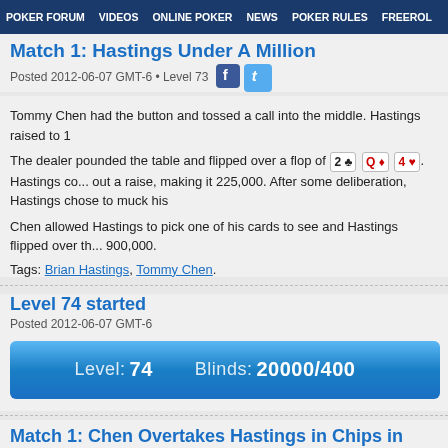POKER FORUM  VIDEOS  ONLINE POKER  NEWS  POKER RULES  FREEROL
Match 1: Hastings Under A Million
Posted 2012-06-07 GMT-6 • Level 73
Tommy Chen had the button and tossed a call into the middle. Hastings raised to 1...
The dealer pounded the table and flipped over a flop of 2♣ Q♦ 4♥. Hastings co... out a raise, making it 225,000. After some deliberation, Hastings chose to muck his...
Chen allowed Hastings to pick one of his cards to see and Hastings flipped over th... 900,000.
Tags: Brian Hastings, Tommy Chen.
Level 74 started
Posted 2012-06-07 GMT-6
[Figure (infographic): Blue gradient banner showing Level: 74   Blinds: 20000/400...]
Match 1: Chen Overtakes Hastings in Chips in Play